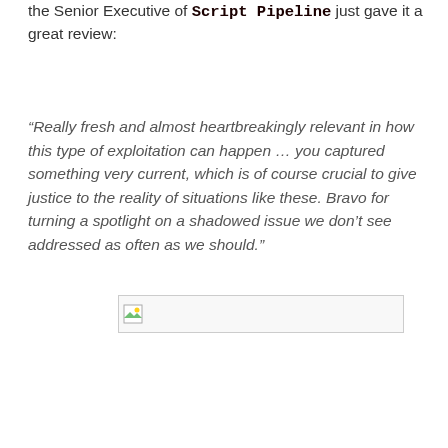the Senior Executive of Script Pipeline just gave it a great review:
“Really fresh and almost heartbreakingly relevant in how this type of exploitation can happen … you captured something very current, which is of course crucial to give justice to the reality of situations like these. Bravo for turning a spotlight on a shadowed issue we don’t see addressed as often as we should.”
[Figure (other): Broken image placeholder with small image icon in top-left corner]